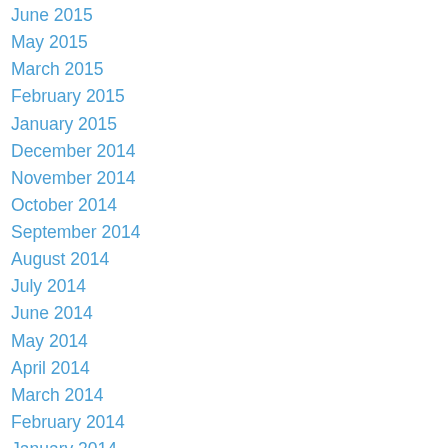June 2015
May 2015
March 2015
February 2015
January 2015
December 2014
November 2014
October 2014
September 2014
August 2014
July 2014
June 2014
May 2014
April 2014
March 2014
February 2014
January 2014
December 2013
November 2013
October 2013
September 2013